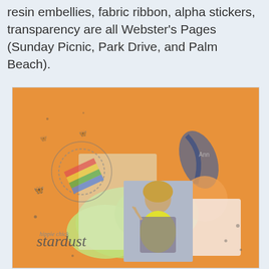resin embellies, fabric ribbon, alpha stickers, transparency are all Webster's Pages (Sunday Picnic, Park Drive, and Palm Beach).
[Figure (photo): A scrapbook layout on an orange background featuring a photo of a person wearing a colorful tie-dye shirt making a peace sign. The layout includes decorative elements such as a circular ribbon/embellishment, butterfly motifs, green cloud/splotch shapes, blue paint strokes, and cursive text reading 'stardust' with smaller text above reading 'hippie chick'.]